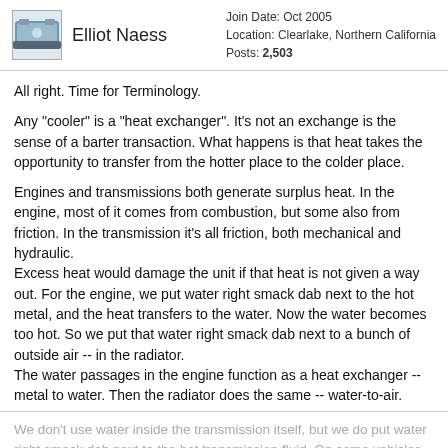Elliot Naess | Join Date: Oct 2005 | Location: Clearlake, Northern California | Posts: 2,503
All right. Time for Terminology.
Any "cooler" is a "heat exchanger". It's not an exchange is the sense of a barter transaction. What happens is that heat takes the opportunity to transfer from the hotter place to the colder place.
Engines and transmissions both generate surplus heat. In the engine, most of it comes from combustion, but some also from friction. In the transmission it's all friction, both mechanical and hydraulic. Excess heat would damage the unit if that heat is not given a way out. For the engine, we put water right smack dab next to the hot metal, and the heat transfers to the water. Now the water becomes too hot. So we put that water right smack dab next to a bunch of outside air -- in the radiator.
The water passages in the engine function as a heat exchanger -- metal to water. Then the radiator does the same -- water-to-air.
We don't use water inside the transmission itself, but we do put water right smack dab next to the hot transmission fluid. On some vehicles this is...